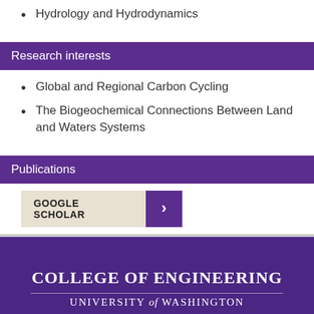Hydrology and Hydrodynamics
Research interests
Global and Regional Carbon Cycling
The Biogeochemical Connections Between Land and Waters Systems
Publications
[Figure (other): Google Scholar button with purple arrow]
COLLEGE OF ENGINEERING UNIVERSITY of WASHINGTON